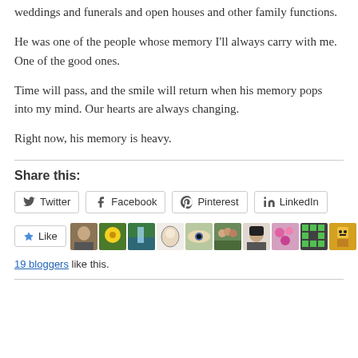weddings and funerals and open houses and other family functions.
He was one of the people whose memory I'll always carry with me. One of the good ones.
Time will pass, and the smile will return when his memory pops into my mind. Our hearts are always changing.
Right now, his memory is heavy.
Share this:
[Figure (other): Social share buttons: Twitter, Facebook, Pinterest, LinkedIn]
[Figure (other): Like button with 19 blogger avatars]
19 bloggers like this.